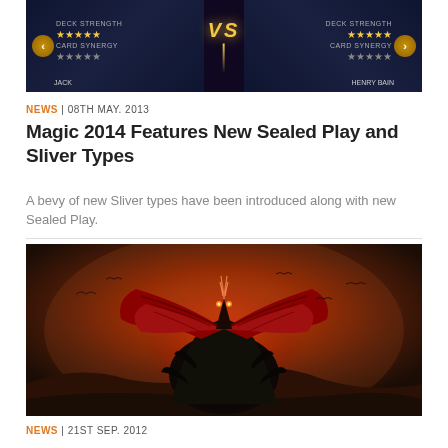[Figure (screenshot): Game screenshot showing a VS battle screen with two characters facing off, golden VS text in center, navigation arrows on sides, dark fantasy background]
NEWS | 08TH MAY. 2013
Magic 2014 Features New Sealed Play and Sliver Types
A bevy of new Sliver types have been introduced along with new Sealed Play.
[Figure (illustration): Dark fantasy illustration of a large winged demon/dragon creature with red wings spread wide, dark feathers, glowing eyes, set against a dramatic orange and brown sky]
NEWS | 21ST SEP. 2012
Magic: The Gathering– Duels 2013 Expansion Now Available
On Xbox Live, PSN, Steam and the App Store